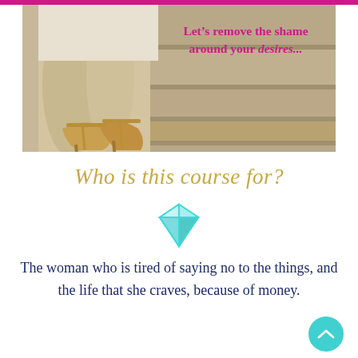[Figure (photo): Photo of woman's legs in gold strappy heels sitting on stone steps, with magenta text overlay reading 'Let's remove the shame around your desires...']
Who is this course for?
[Figure (illustration): Cyan/turquoise diamond gemstone icon]
The woman who is tired of saying no to the things, and the life that she craves, because of money.